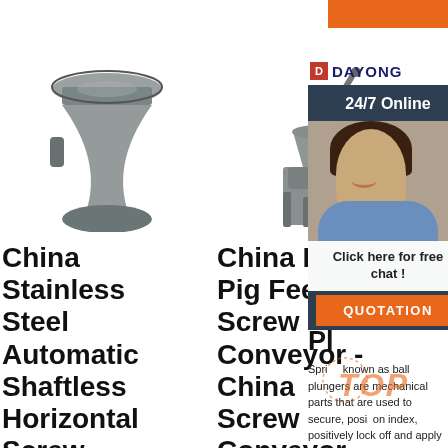[Figure (illustration): Orange button/bar in top right corner]
[Figure (photo): China Stainless Steel Automatic Shaftless Horizontal Screw machine photo]
China Stainless Steel Automatic Shaftless Horizontal Screw ...
[Figure (photo): China Bulk Pig Feed Screw Conveyor machine photo]
China Bulk Pig Feed Screw Conveyor - China Screw Conveyor
[Figure (logo): DAYONG logo with icon]
[Figure (infographic): 24/7 Online chat panel with woman photo, Click here for free chat!, QUOTATION button]
Sp... Pl... Spring... known as ball plungers are mechanical parts that are used to secure, position index, positively lock off and apply pressure. The